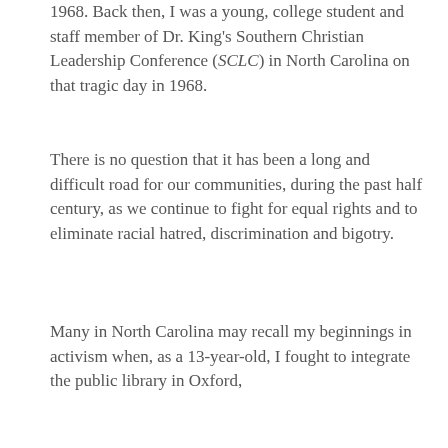1968. Back then, I was a young, college student and staff member of Dr. King's Southern Christian Leadership Conference (SCLC) in North Carolina on that tragic day in 1968.
There is no question that it has been a long and difficult road for our communities, during the past half century, as we continue to fight for equal rights and to eliminate racial hatred, discrimination and bigotry.
Many in North Carolina may recall my beginnings in activism when, as a 13-year-old, I fought to integrate the public library in Oxford,
[Figure (logo): Red background with white bold text reading 'STOP THE HATE' with a fist graphic in the background]